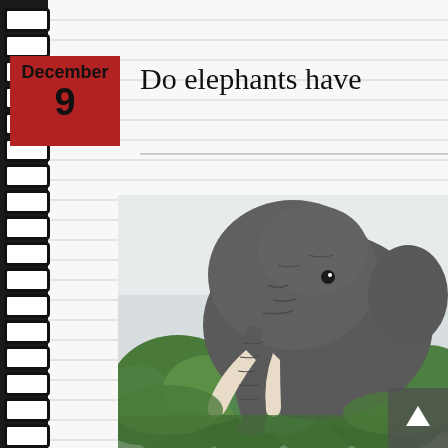[Figure (other): Spiral-bound notebook left margin with black coil binding]
Do elephants have
[Figure (photo): Close-up photograph of an African elephant facing the camera, showing wrinkled grey skin, tusks, and surrounded by green trees and shrubs]
December 9